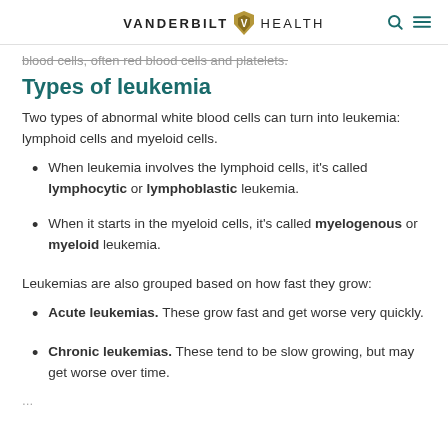VANDERBILT HEALTH
blood cells, often red blood cells and platelets.
Types of leukemia
Two types of abnormal white blood cells can turn into leukemia: lymphoid cells and myeloid cells.
When leukemia involves the lymphoid cells, it's called lymphocytic or lymphoblastic leukemia.
When it starts in the myeloid cells, it's called myelogenous or myeloid leukemia.
Leukemias are also grouped based on how fast they grow:
Acute leukemias. These grow fast and get worse very quickly.
Chronic leukemias. These tend to be slow growing, but may get worse over time.
...